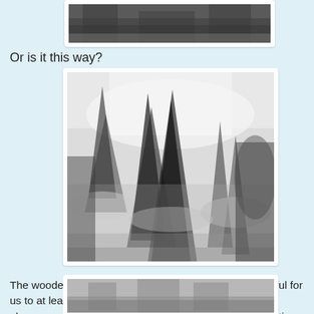[Figure (photo): Partial top view of a snowy winter forest scene, cropped at the top of the page]
Or is it this way?
[Figure (photo): Black and white photograph of snow-covered evergreen trees in dense fog or mist, viewed from above]
The wooden hut at the bottom of the tower came in useful for us to at least for a moment take down our hoods, wipe glasses and get rid of the snow that had been accumulating on our coats.
[Figure (photo): Partial bottom view of a foggy winter forest scene, cropped at the bottom of the page]